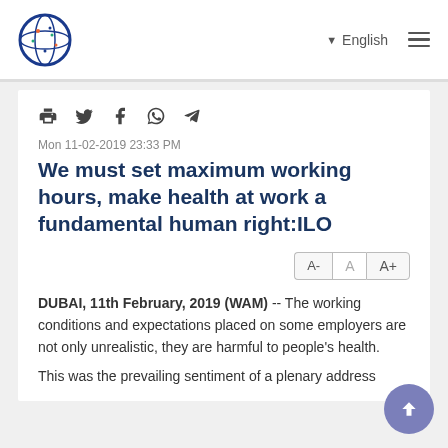English
Mon 11-02-2019 23:33 PM
We must set maximum working hours, make health at work a fundamental human right:ILO
DUBAI, 11th February, 2019 (WAM) -- The working conditions and expectations placed on some employers are not only unrealistic, they are harmful to people's health.
This was the prevailing sentiment of a plenary address...